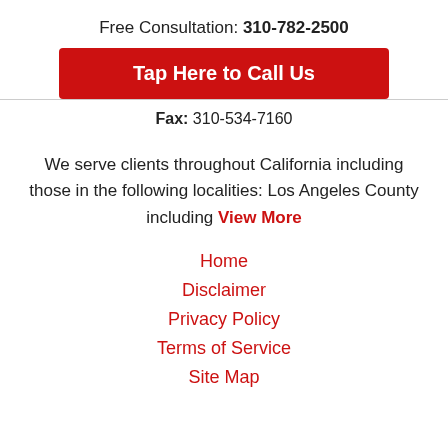Free Consultation: 310-782-2500
Tap Here to Call Us
Fax: 310-534-7160
We serve clients throughout California including those in the following localities: Los Angeles County including View More
Home
Disclaimer
Privacy Policy
Terms of Service
Site Map